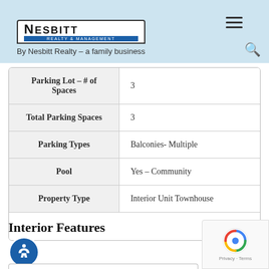Nesbitt Realty & Management – By Nesbitt Realty – a family business
| Property | Value |
| --- | --- |
| Parking Lot – # of Spaces | 3 |
| Total Parking Spaces | 3 |
| Parking Types | Balconies- Multiple |
| Pool | Yes – Community |
| Property Type | Interior Unit Townhouse |
Interior Features